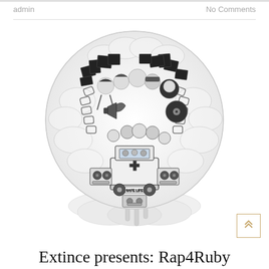admin    No Comments
[Figure (illustration): Black and white detailed illustration of a globe-like sphere composed of hip-hop figures, people, a vehicle labeled 'SAFE LIFE' with a cross symbol on the front, speakers/boomboxes, and graffiti-style 3D lettering, surrounded by cloud-like formations. The scene is densely packed with urban and hip-hop imagery.]
Extince presents: Rap4Ruby